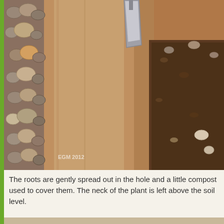[Figure (photo): Close-up photograph of soil with rounded river pebbles/gravel on the left side, sandy-brown soil in the middle, and a metal trowel/spade blade visible at the top center-right, with darker compost soil beneath it. Watermark 'EGM 2012' visible in lower left. Shows soil preparation for planting.]
The roots are gently spread out in the hole and a little compost used to cover them. The neck of the plant is left above the soil level.